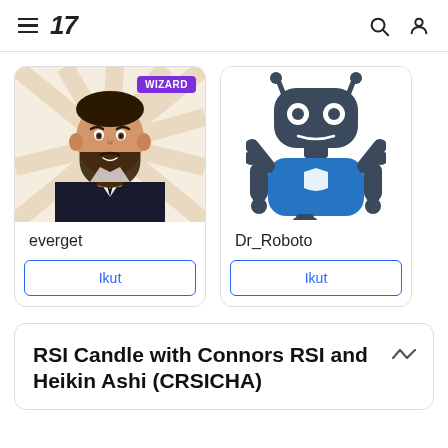TradingView header with hamburger menu, logo '17', search icon, and user icon
[Figure (illustration): Profile card for 'everget' with WIZARD badge. Illustrated avatar of a man in suit with beard. Follow button labeled 'Ikut'.]
[Figure (illustration): Profile card for 'Dr_Roboto' with robot avatar in blue. Follow button labeled 'Ikut'.]
RSI Candle with Connors RSI and Heikin Ashi (CRSICHA)